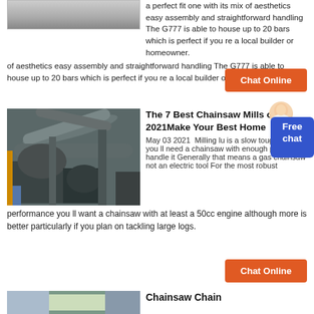[Figure (photo): Partial photo at top left, grey/white rocky or snowy surface]
a perfect fit one with its mix of aesthetics easy assembly and straightforward handling The G777 is able to house up to 20 bars which is perfect if you re a local builder or homeowner.
Chat Online
[Figure (photo): Industrial milling or processing machinery with large pipes and ducts in a factory setting]
The 7 Best Chainsaw Mills of 2021Make Your Best Home
May 03 2021  Milling lu is a slow tough job so you ll need a chainsaw with enough power to handle it Generally that means a gas chainsaw not an electric tool For the most robust performance you ll want a chainsaw with at least a 50cc engine although more is better particularly if you plan on tackling large logs.
Chat Online
[Figure (photo): Bottom photo partially visible, appears to show outdoor or industrial scene in blue/green tones]
Chainsaw Chain